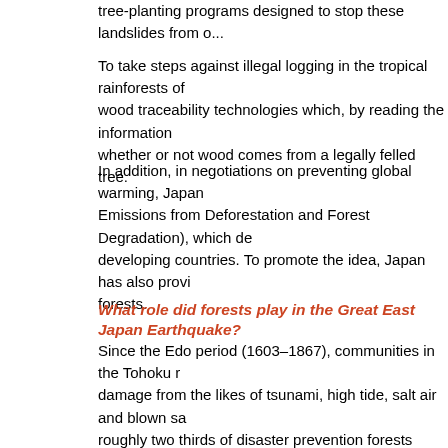tree-planting programs designed to stop these landslides from o...
To take steps against illegal logging in the tropical rainforests of... wood traceability technologies which, by reading the information... whether or not wood comes from a legally felled tree.
In addition, in negotiations on preventing global warming, Japan... Emissions from Deforestation and Forest Degradation), which de... developing countries. To promote the idea, Japan has also provi... forests.
What role did forests play in the Great East Japan Earthquake?
Since the Edo period (1603–1867), communities in the Tohoku r... damage from the likes of tsunami, high tide, salt air and blown sa... roughly two thirds of disaster prevention forests planted along a... Chiba Prefecture suffered damage. However, disaster-prevention... its progress and holding up large amounts of floating wreckage.
For example, Hachinohe in Aomori Prefecture was hit by a tsuna... parts of the coastal disaster prevention forests. However, the for... the encroachment of the boats into the residential areas behind.
Soon, improvements such as planting trees whose roots extend... rebuild disaster prevention forests into areas which are even mo...
A large number of officials from foreign embassies in Japan atte...